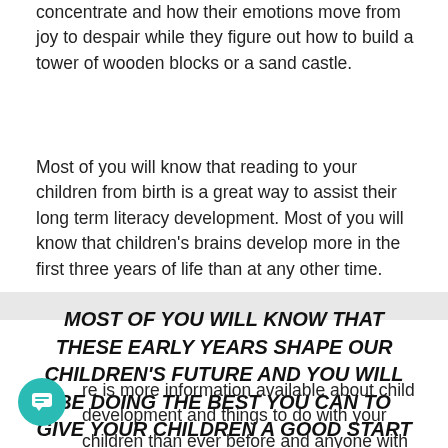concentrate and how their emotions move from joy to despair while they figure out how to build a tower of wooden blocks or a sand castle.
Most of you will know that reading to your children from birth is a great way to assist their long term literacy development. Most of you will know that children's brains develop more in the first three years of life than at any other time.
MOST OF YOU WILL KNOW THAT THESE EARLY YEARS SHAPE OUR CHILDREN'S FUTURE AND YOU WILL BE DOING THE BEST YOU CAN TO GIVE YOUR CHILDREN A GOOD START IN LIFE.
There is more information available about child development and things to do with your children than ever before and anyone with a mobile phone can find